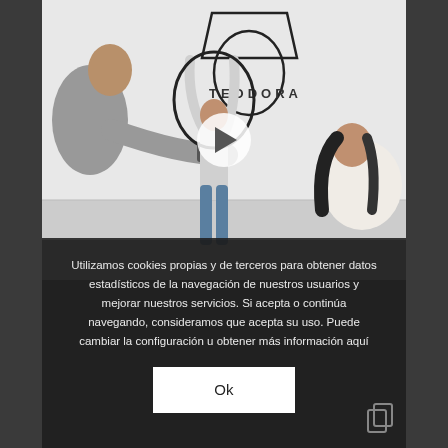[Figure (photo): Indoor studio photo shoot scene. Three people visible: a man with a camera on the left, a woman in the center holding a large circular ring/hoop above her head standing in front of a white wall with the TEODORA brand logo, and a dark-haired woman on the right. A play button icon is overlaid in the center of the image.]
Utilizamos cookies propias y de terceros para obtener datos estadísticos de la navegación de nuestros usuarios y mejorar nuestros servicios. Si acepta o continúa navegando, consideramos que acepta su uso. Puede cambiar la configuración u obtener más información aquí
Ok